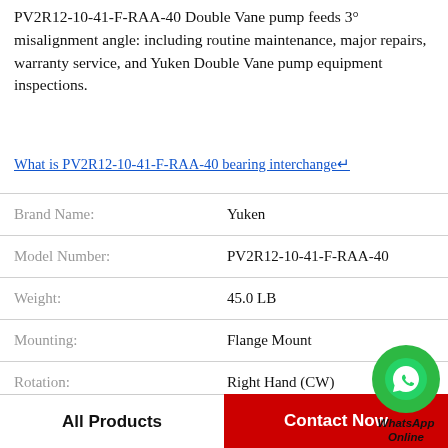PV2R12-10-41-F-RAA-40 Double Vane pump feeds 3° misalignment angle: including routine maintenance, major repairs, warranty service, and Yuken Double Vane pump equipment inspections.
What is PV2R12-10-41-F-RAA-40 bearing interchange↵
| Field | Value |
| --- | --- |
| Brand Name: | Yuken |
| Model Number: | PV2R12-10-41-F-RAA-40 |
| Weight: | 45.0 LB |
| Mounting: | Flange Mount |
| Rotation: | Right Hand (CW) |
| Model No.: | 2520VQP21A11-11DD3F-20 |
| Port Size: | 2 1/2 |
[Figure (logo): WhatsApp Online contact badge with green phone icon circle and italic bold text 'WhatsApp Online']
All Products   Contact Now